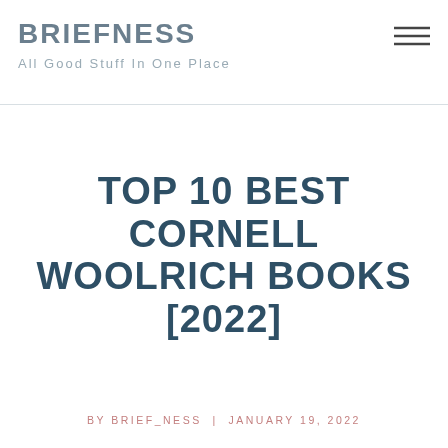BRIEFNESS
All Good Stuff In One Place
TOP 10 BEST CORNELL WOOLRICH BOOKS [2022]
BY BRIEF_NESS | JANUARY 19, 2022